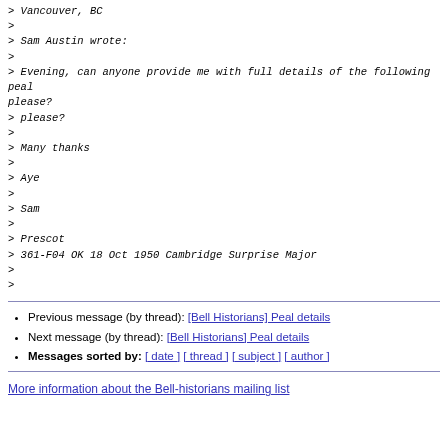> Vancouver, BC
>
> Sam Austin wrote:
>
> Evening, can anyone provide me with full details of the following peal
> please?
>
> Many thanks
>
> Aye
>
> Sam
>
> Prescot
> 361-F04 OK 18 Oct 1950 Cambridge Surprise Major
>
>
Previous message (by thread): [Bell Historians] Peal details
Next message (by thread): [Bell Historians] Peal details
Messages sorted by: [ date ] [ thread ] [ subject ] [ author ]
More information about the Bell-historians mailing list